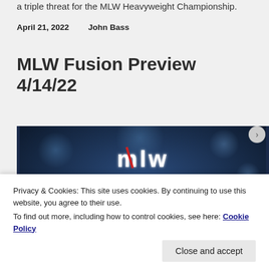a triple threat for the MLW Heavyweight Championship.
April 21, 2022    John Bass
MLW Fusion Preview 4/14/22
[Figure (photo): MLW Fusion logo on dark blue bokeh background — gold and white 'MLW Fusion' text logo]
Privacy & Cookies: This site uses cookies. By continuing to use this website, you agree to their use.
To find out more, including how to control cookies, see here: Cookie Policy
Close and accept